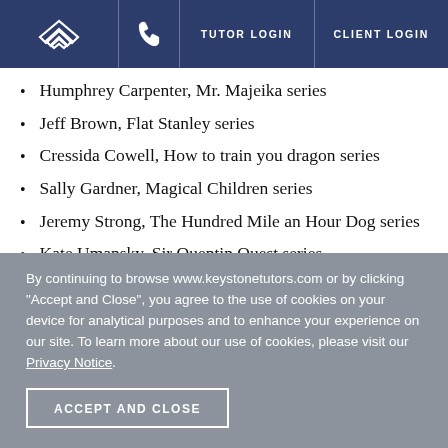Keystone Tutors — TUTOR LOGIN | CLIENT LOGIN
Humphrey Carpenter, Mr. Majeika series
Jeff Brown, Flat Stanley series
Cressida Cowell, How to train you dragon series
Sally Gardner, Magical Children series
Jeremy Strong, The Hundred Mile an Hour Dog series
Kate Umansky, Sir Quentin Quest series
Michelle Coxon, The Cat Who Lost His Purr
Pete Sanders, Frightened Frank (partially visible)
By continuing to browse www.keystonetutors.com or by clicking "Accept and Close", you agree to the use of cookies on your device for analytical purposes and to enhance your experience on our site. To learn more about our use of cookies, please visit our Privacy Notice.
ACCEPT AND CLOSE